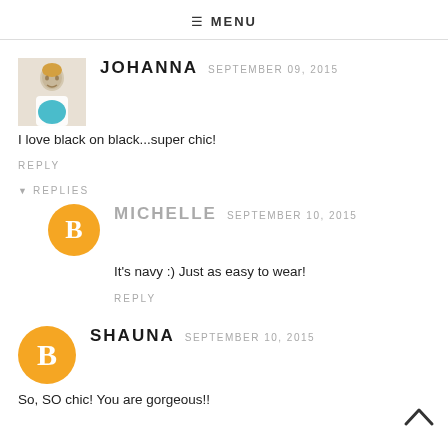MENU
[Figure (photo): Johanna avatar photo - woman in white top and turquoise skirt]
JOHANNA  SEPTEMBER 09, 2015
I love black on black...super chic!
REPLY
▾ REPLIES
[Figure (logo): Michelle avatar - orange circle with white blogger B icon]
MICHELLE  SEPTEMBER 10, 2015
It's navy :) Just as easy to wear!
REPLY
[Figure (logo): Shauna avatar - orange circle with white blogger B icon]
SHAUNA  SEPTEMBER 10, 2015
So, SO chic! You are gorgeous!!